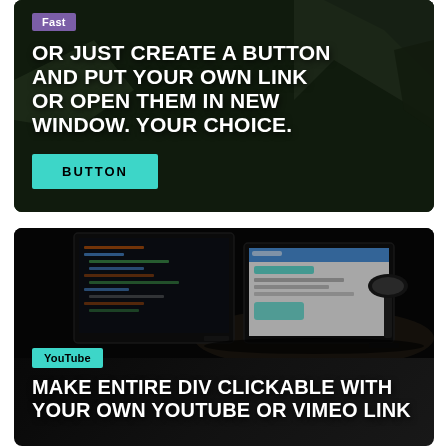[Figure (photo): Dark forest/mountain cliff background card with purple 'Fast' badge, large bold white text heading, and teal BUTTON]
Fast
OR JUST CREATE A BUTTON AND PUT YOUR OWN LINK OR OPEN THEM IN NEW WINDOW. YOUR CHOICE.
BUTTON
[Figure (photo): Dark desk/monitor setup background card with teal 'YouTube' badge and large bold white text heading]
YouTube
MAKE ENTIRE DIV CLICKABLE WITH YOUR OWN YOUTUBE OR VIMEO LINK